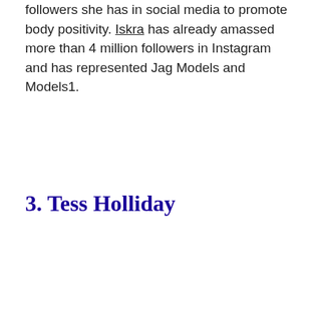followers she has in social media to promote body positivity. Iskra has already amassed more than 4 million followers in Instagram and has represented Jag Models and Models1.
3. Tess Holliday
[Figure (screenshot): A social media embed card with a large opening quotation mark above it. The card shows a blurred/placeholder profile avatar circle and two grey placeholder lines for a username and handle. An Instagram icon is visible at the bottom of the card. A teal 'TOP' button with an upward chevron is positioned in the bottom-right corner.]